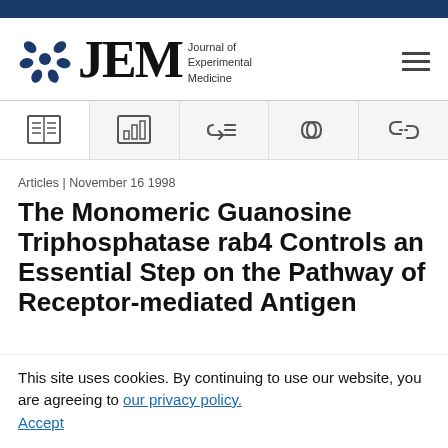[Figure (logo): JEM Journal of Experimental Medicine logo with circular blue floral/molecular icon and hamburger menu icon]
[Figure (infographic): Navigation icon bar with 5 icons: book/article, bar chart, citations, link, broken link]
Articles | November 16 1998
The Monomeric Guanosine Triphosphatase rab4 Controls an Essential Step on the Pathway of Receptor-mediated Antigen
This site uses cookies. By continuing to use our website, you are agreeing to our privacy policy. Accept